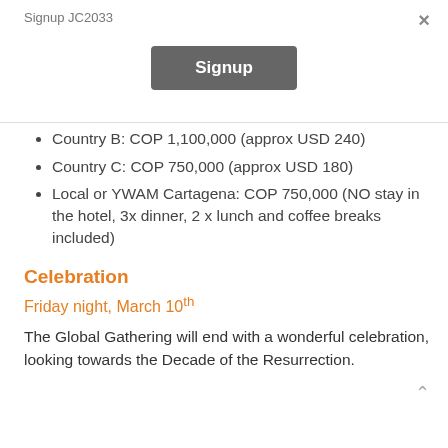Signup JC2033
×
Signup
Country B: COP 1,100,000 (approx USD 240)
Country C: COP 750,000 (approx USD 180)
Local or YWAM Cartagena: COP 750,000 (NO stay in the hotel, 3x dinner, 2 x lunch and coffee breaks included)
Celebration
Friday night, March 10th
The Global Gathering will end with a wonderful celebration, looking towards the Decade of the Resurrection.